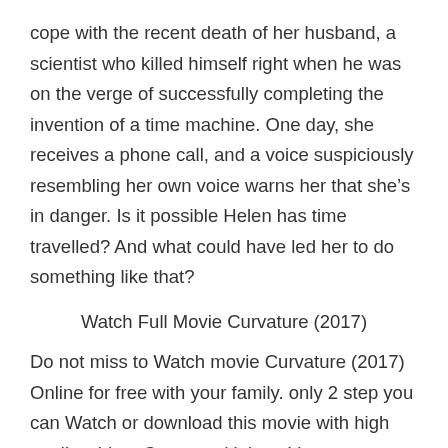cope with the recent death of her husband, a scientist who killed himself right when he was on the verge of successfully completing the invention of a time machine. One day, she receives a phone call, and a voice suspiciously resembling her own voice warns her that she’s in danger. Is it possible Helen has time travelled? And what could have led her to do something like that?
Watch Full Movie Curvature (2017)
Do not miss to Watch movie Curvature (2017) Online for free with your family. only 2 step you can Watch or download this movie with high quality video. Come and join us! because very much movie